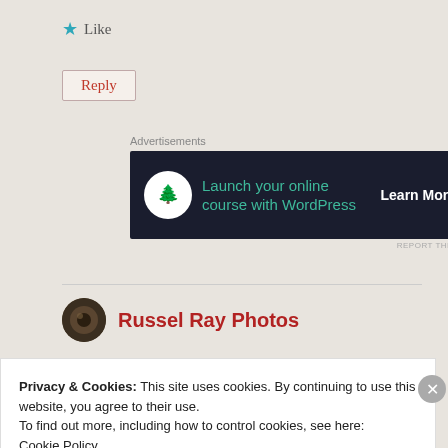★ Like
Reply
Advertisements
[Figure (infographic): Dark banner ad: bonsai tree logo, text 'Launch your online course with WordPress', 'Learn More' button]
Russel Ray Photos
Privacy & Cookies: This site uses cookies. By continuing to use this website, you agree to their use.
To find out more, including how to control cookies, see here:
Cookie Policy
Close and accept